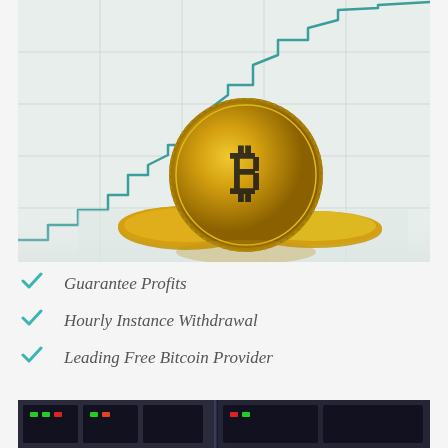[Figure (photo): Photo of gold Bitcoin coins standing upright in front of a blurred financial chart showing an upward trending line graph with teal/green stepped line on white background.]
Guarantee Profits
Hourly Instance Withdrawal
Leading Free Bitcoin Provider
[Figure (photo): Partial photo at bottom showing what appears to be trading screens or electronic equipment with colorful displays.]